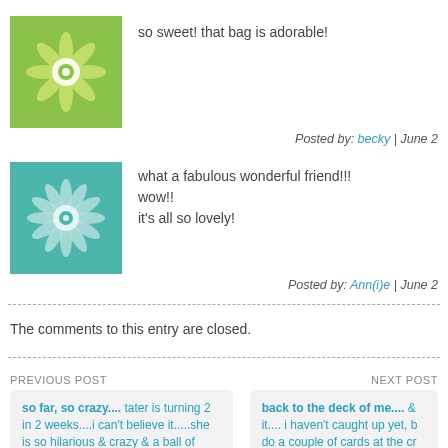[Figure (illustration): Green mandala/flower pattern avatar icon on white background]
so sweet! that bag is adorable!
Posted by: becky | June 2
[Figure (illustration): Teal/blue mandala/flower pattern avatar icon]
what a fabulous wonderful friend!!!
wow!!
it's all so lovely!
Posted by: Ann(i)e | June 2
The comments to this entry are closed.
PREVIOUS POST
so far, so crazy.... tater is turning 2 in 2 weeks....i can't believe it.....she is so hilarious & crazy & a ball of energy....she completely
NEXT POST
back to the deck of me.... & it.... i haven't caught up yet, b do a couple of cards at the cr
[Figure (photo): Close-up photo of teal and purple/pink crochet texture]
Subscribe to this blog's feed